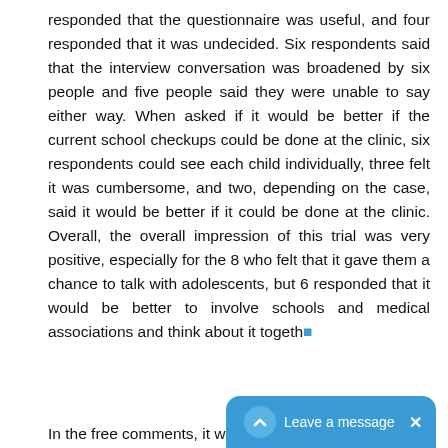responded that the questionnaire was useful, and four responded that it was undecided. Six respondents said that the interview conversation was broadened by six people and five people said they were unable to say either way. When asked if it would be better if the current school checkups could be done at the clinic, six respondents could see each child individually, three felt it was cumbersome, and two, depending on the case, said it would be better if it could be done at the clinic. Overall, the overall impression of this trial was very positive, especially for the 8 who felt that it gave them a chance to talk with adolescents, but 6 responded that it would be better to involve schools and medical associations and think about it togeth
In the free comments, it was